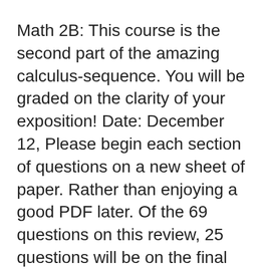Math 2B: This course is the second part of the amazing calculus-sequence. You will be graded on the clarity of your exposition! Date: December 12, Please begin each section of questions on a new sheet of paper. Rather than enjoying a good PDF later. Of the 69 questions on this review, 25 questions will be on the final exam. Spring 03 final with answers. Practice Exam 1. Integral Table given on Final Exam. wpd Author: Derek Created Date: 4/16/ PM. While the textbook wasn't % used in class and many materials were still supplemented it is a great resource for extra problems and explanations. 0 y y= x (a) Write down two di. Find the values of the six trigonometric functions for angle , when and. The best approach to studying for future exams is to take one of the old "practice" exams listed below